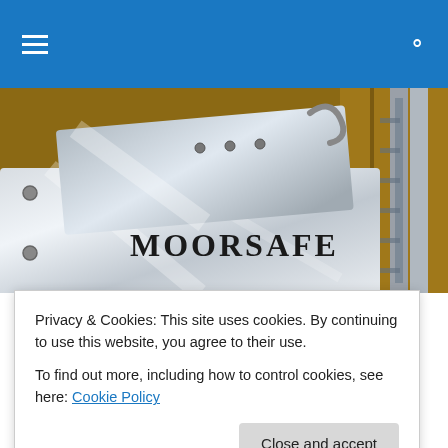Navigation bar with hamburger menu and search icon
[Figure (photo): Close-up photograph of polished stainless steel safe products with 'MOORSAFE' text engraved, displayed on wooden shelving]
10 Fixed Jackpot which Will Rock The Coming Year
10 Fixed Jackpot which Will Rock The Coming Year
Privacy & Cookies: This site uses cookies. By continuing to use this website, you agree to their use.
To find out more, including how to control cookies, see here: Cookie Policy
Close and accept
The sum of all the jackpot will precisely the same